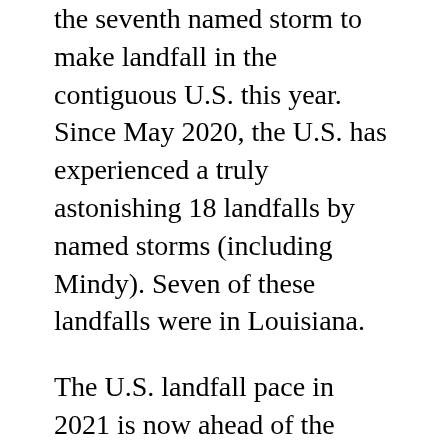the seventh named storm to make landfall in the contiguous U.S. this year. Since May 2020, the U.S. has experienced a truly astonishing 18 landfalls by named storms (including Mindy). Seven of these landfalls were in Louisiana.
The U.S. landfall pace in 2021 is now ahead of the record year of 2020, when a remarkable 11 named storms made landfall in the contiguous U.S. The seventh landfall of 2020 (Hurricane Sally in Alabama) occurred on September 16.
From 1950 through 2020, the U.S. averaged three land-falling tropical storms